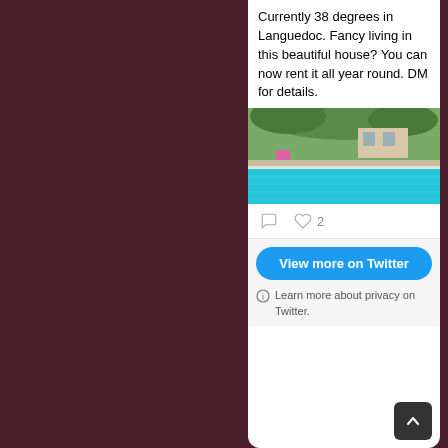Currently 38 degrees in Languedoc. Fancy living in this beautiful house? You can now rent it all year round. DM for details.
[Figure (photo): Outdoor swimming pool with turquoise blue water, surrounded by trees and a stone patio. A pink object is visible in the background near the poolside.]
2
View more on Twitter
Learn more about privacy on Twitter.